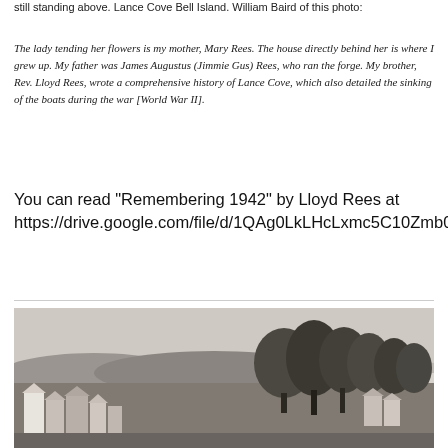still standing above. Lance Cove Bell Island. William Baird of this photo:
The lady tending her flowers is my mother, Mary Rees. The house directly behind her is where I grew up. My father was James Augustus (Jimmie Gus) Rees, who ran the forge. My brother, Rev. Lloyd Rees, wrote a comprehensive history of Lance Cove, which also detailed the sinking of the boats during the war [World War II].
You can read "Remembering 1942" by Lloyd Rees at https://drive.google.com/file/d/1QAg0LkLHcLxmc5C10Zmb0IjsRf61uVza/view
[Figure (photo): Black and white historical photograph showing a landscape view of what appears to be Lance Cove, Bell Island, with houses and buildings in the foreground and trees on the right side, with hills or elevated land in the background.]